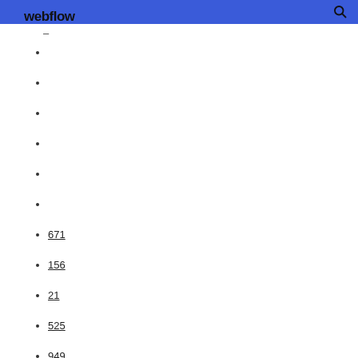webflow
671
156
21
525
949
979